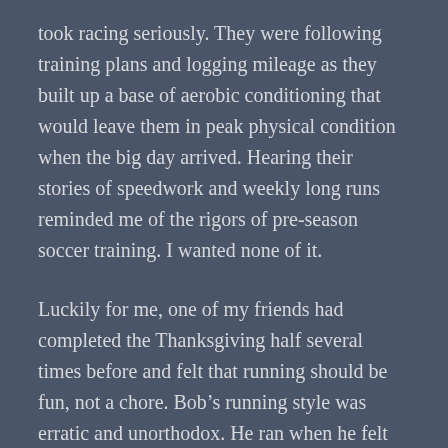took racing seriously. They were following training plans and logging mileage as they built up a base of aerobic conditioning that would leave them in peak physical condition when the big day arrived. Hearing their stories of speedwork and weekly long runs reminded me of the rigors of pre-season soccer training. I wanted none of it.
Luckily for me, one of my friends had completed the Thanksgiving half several times before and felt that running should be fun, not a chore. Bob's running style was erratic and unorthodox. He ran when he felt like it and didn't when he didn't. He was more focused on enjoying the experience than tracking mile splits. I could see a little bit of Sourdough in Bob and that appealed to me.